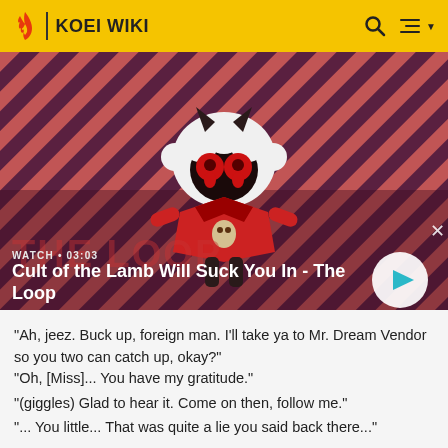KOEI WIKI
[Figure (screenshot): Video thumbnail showing animated character from Cult of the Lamb with diagonal red and dark stripes background. Character is a black-faced lamb with red glowing eyes, white wool, dark horns, wearing a red outfit. Shows WATCH • 03:03 label and title 'Cult of the Lamb Will Suck You In - The Loop' with a play button.]
"Ah, jeez. Buck up, foreign man. I'll take ya to Mr. Dream Vendor so you two can catch up, okay?"
"Oh, [Miss]... You have my gratitude."
"(giggles) Glad to hear it. Come on then, follow me."
"... You little... That was quite a lie you said back there..."